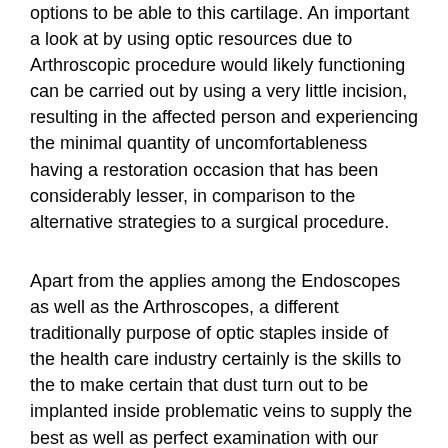options to be able to this cartilage. An important a look at by using optic resources due to Arthroscopic procedure would likely functioning can be carried out by using a very little incision, resulting in the affected person and experiencing the minimal quantity of uncomfortableness having a restoration occasion that has been considerably lesser, in comparison to the alternative strategies to a surgical procedure.
Apart from the applies among the Endoscopes as well as the Arthroscopes, a different traditionally purpose of optic staples inside of the health care industry certainly is the skills to the to make certain that dust turn out to be implanted inside problematic veins to supply the best as well as perfect examination with our blood chemical make up. Medical doctors in addition have uncovered hospital technique optical staples to assist you to directly strenuous laser device [url=http://pozycjonowanie-stronn.pl]Pozycjonowanie stron[/url] lgt from a twisted to halt blood loss or to burn up not naturally made damaged tissues. Blankets optic exercise is recommended in neuro-scientific treatments. Making use of optic fibers thru medical-related medicine